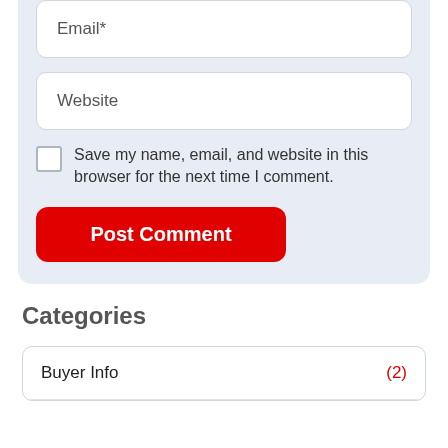Email*
Website
Save my name, email, and website in this browser for the next time I comment.
Post Comment
Categories
Buyer Info (2)